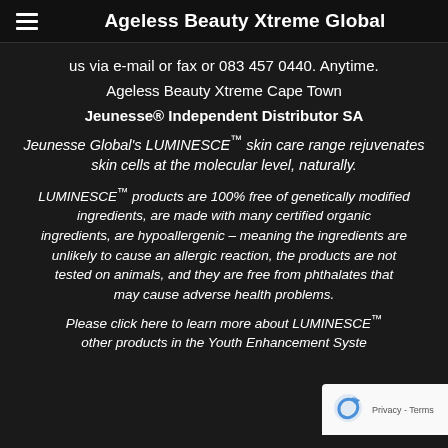Ageless Beauty Xtreme Global
us via e-mail or fax or 083 457 0440. Anytime.
Ageless Beauty Xtreme Cape Town
Jeunesse® Independent Distributor SA
Jeunesse Global's LUMINESCE™ skin care range rejuvenates skin cells at the molecular level, naturally.
LUMINESCE™ products are 100% free of genetically modified ingredients, are made with many certified organic ingredients, are hypoallergenic – meaning the ingredients are unlikely to cause an allergic reaction, the products are not tested on animals, and they are free from phthalates that may cause adverse health problems.
Please click here to learn more about LUMINESCE™ other products in the Youth Enhancement Syste